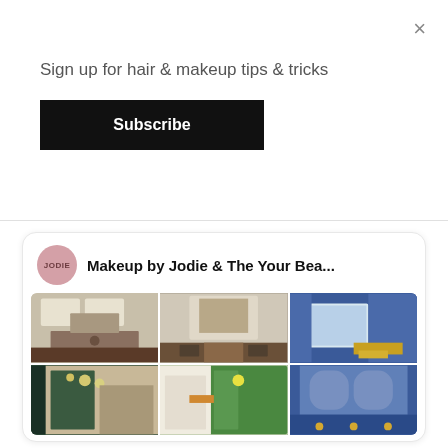Sign up for hair & makeup tips & tricks
Subscribe
×
[Figure (screenshot): Pinterest widget card showing 'Makeup by Jodie & The Your Bea...' with a grid of 6 interior/room photos and a Follow On Pinterest button]
Follow On Pinterest